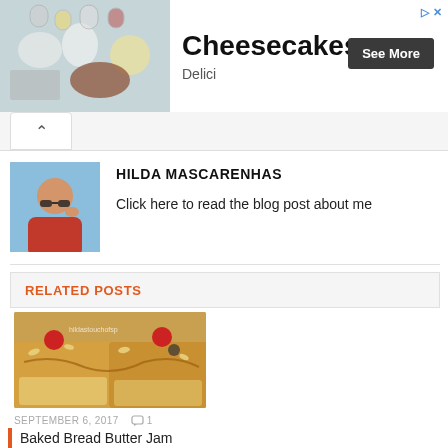[Figure (screenshot): Advertisement banner for Cheesecakes with food photo, 'See More' button, and Delici subtitle]
Cheesecakes
Delici
[Figure (photo): Profile photo of Hilda Mascarenhas wearing red top and sunglasses]
HILDA MASCARENHAS
Click here to read the blog post about me
RELATED POSTS
[Figure (photo): Food photo showing baked bread butter jam topped with cherries and nuts, with watermark hildastouchofsp...]
SEPTEMBER 6, 2017
1
Baked Bread Butter Jam